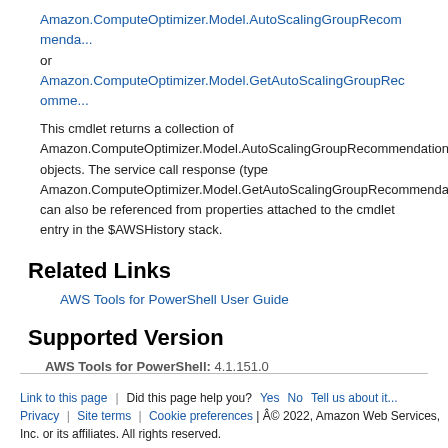Amazon.ComputeOptimizer.Model.AutoScalingGroupRecommenda... or Amazon.ComputeOptimizer.Model.GetAutoScalingGroupRecomme...
This cmdlet returns a collection of Amazon.ComputeOptimizer.Model.AutoScalingGroupRecommendation objects. The service call response (type Amazon.ComputeOptimizer.Model.GetAutoScalingGroupRecommenda... can also be referenced from properties attached to the cmdlet entry in the $AWSHistory stack.
Related Links
AWS Tools for PowerShell User Guide
Supported Version
AWS Tools for PowerShell: 4.1.151.0
Link to this page | Did this page help you? Yes No Tell us about it... Privacy | Site terms | Cookie preferences | © 2022, Amazon Web Services, Inc. or its affiliates. All rights reserved.